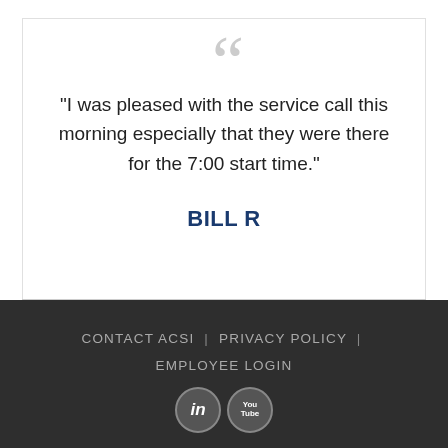“I was pleased with the service call this morning especially that they were there for the 7:00 start time.”
BILL R
CONTACT ACSI | PRIVACY POLICY | EMPLOYEE LOGIN